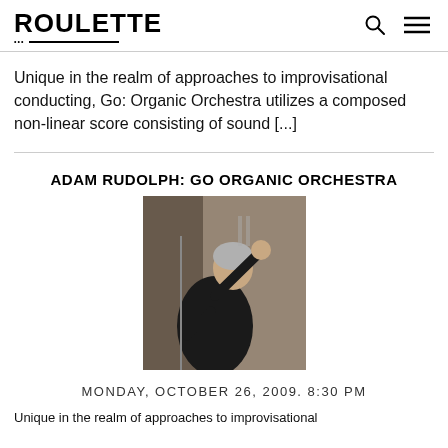ROULETTE
Unique in the realm of approaches to improvisational conducting, Go: Organic Orchestra utilizes a composed non-linear score consisting of sound [...]
ADAM RUDOLPH: GO ORGANIC ORCHESTRA
[Figure (photo): A man in black clothing conducting with his right arm raised, photographed in what appears to be a rehearsal or performance space.]
MONDAY, OCTOBER 26, 2009. 8:30 PM
Unique in the realm of approaches to improvisational...